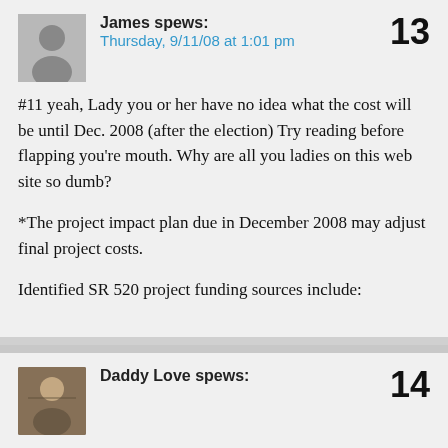James spews: Thursday, 9/11/08 at 1:01 pm — 13
#11 yeah, Lady you or her have no idea what the cost will be until Dec. 2008 (after the election) Try reading before flapping you're mouth. Why are all you ladies on this web site so dumb?
*The project impact plan due in December 2008 may adjust final project costs.
Identified SR 520 project funding sources include:
Daddy Love spews: — 14